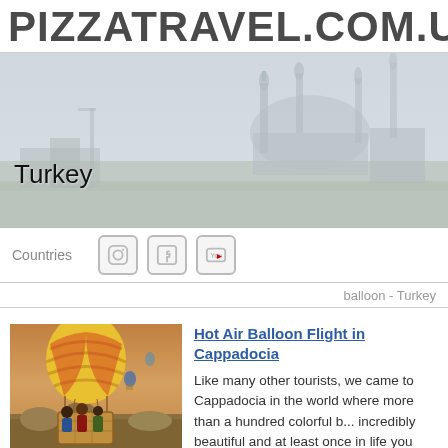PIZZATRAVEL.COM.UA
[Figure (photo): Hero banner photo of Istanbul skyline with Hagia Sophia mosque silhouette in hazy light, overlaid with the text 'Turkey']
Turkey
Countries
[Figure (other): Social media icons: Instagram, Facebook, YouTube]
balloon - Turkey
Hot Air Balloon Flight in Cappadocia
[Figure (photo): Photo of people in a hot air balloon basket over Cappadocia landscape]
Like many other tourists, we came to Cappadocia in the world where more than a hundred colorful b... incredibly beautiful and at least once in life you m...